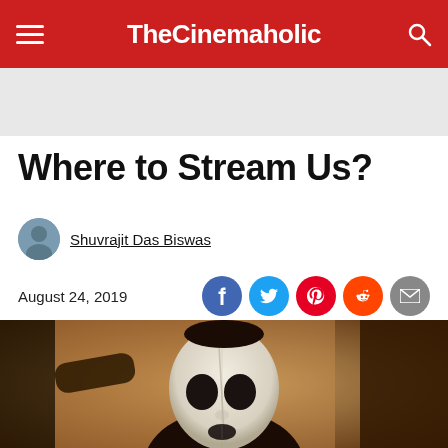TheCinemaholic
Where to Stream Us?
Shuvrajit Das Biswas
August 24, 2019
[Figure (photo): A figure in a white mask with dark eye sockets, in a dimly lit interior scene — from the movie 'Us']